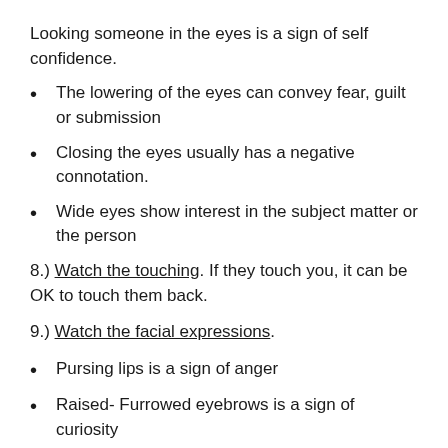Looking someone in the eyes is a sign of self confidence.
The lowering of the eyes can convey fear, guilt or submission
Closing the eyes usually has a negative connotation.
Wide eyes show interest in the subject matter or the person
8.) Watch the touching. If they touch you, it can be OK to touch them back.
9.) Watch the facial expressions.
Pursing lips is a sign of anger
Raised- Furrowed eyebrows is a sign of curiosity
Lowered eyebrows can mean confusion or fear.